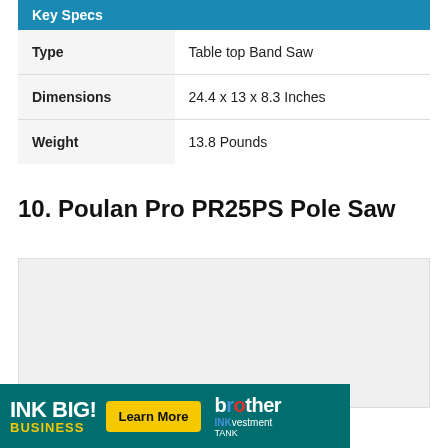|  |  |
| --- | --- |
| Type | Table top Band Saw |
| Dimensions | 24.4 x 13 x 8.3 Inches |
| Weight | 13.8 Pounds |
10. Poulan Pro PR25PS Pole Saw
[Figure (photo): Gray placeholder image area for Poulan Pro PR25PS Pole Saw product photo]
[Figure (other): Advertisement banner: INK BIG! BUSINESS - Learn More - brother INKvestment Tank]